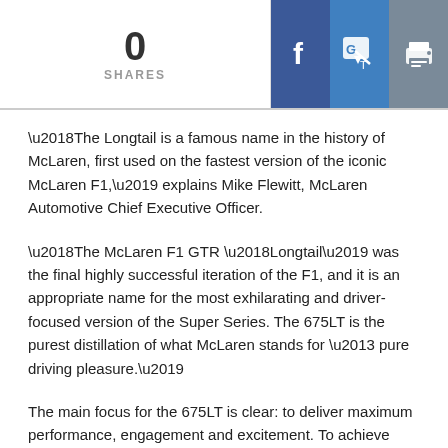0 SHARES
‘The Longtail is a famous name in the history of McLaren, first used on the fastest version of the iconic McLaren F1,’ explains Mike Flewitt, McLaren Automotive Chief Executive Officer.
‘The McLaren F1 GTR ‘Longtail’ was the final highly successful iteration of the F1, and it is an appropriate name for the most exhilarating and driver-focused version of the Super Series. The 675LT is the purest distillation of what McLaren stands for – pure driving pleasure.’
The main focus for the 675LT is clear: to deliver maximum performance, engagement and excitement. To achieve this, weight has been reduced by 100kg through the increased usage of carbon fibre – the signature material of McLaren – and by lighter components throughout, including newly developed suspension geometry derived from the McLaren P1™, resulting in an increased track of 20mm.
Power of the newly-developed M838TL 3.8-litre twin-turbocharged V8 engine is 675PS (666bhp) at 7,100rpm, with a